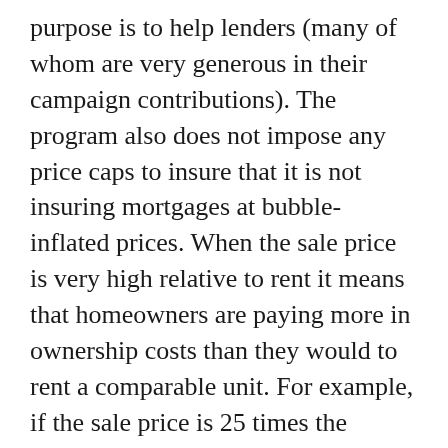purpose is to help lenders (many of whom are very generous in their campaign contributions). The program also does not impose any price caps to insure that it is not insuring mortgages at bubble-inflated prices. When the sale price is very high relative to rent it means that homeowners are paying more in ownership costs than they would to rent a comparable unit. For example, if the sale price is 25 times the annual rent, as is still the case in many bubble markets, then the homeowner can easily be paying twice as much in ownership costs as they would to rent the same home. For a $200,000 home this difference can be more than $8,000 a year. For a moderate-income family earning $40,000 a year, that money will come at the expense of spending on child care, health care and other necessities. If a housing bill